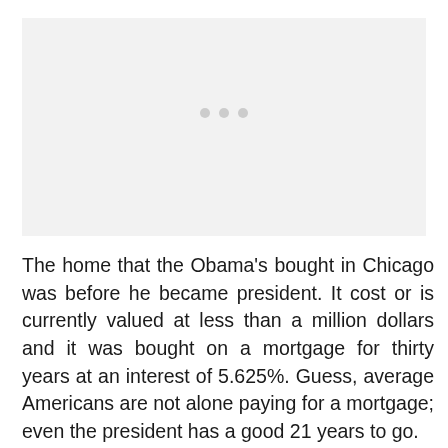[Figure (photo): Placeholder image area with three grey dots indicating a loading or carousel indicator]
The home that the Obama’s bought in Chicago was before he became president. It cost or is currently valued at less than a million dollars and it was bought on a mortgage for thirty years at an interest of 5.625%. Guess, average Americans are not alone paying for a mortgage; even the president has a good 21 years to go.